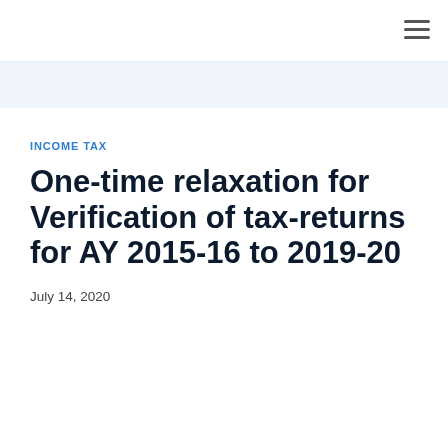INCOME TAX
One-time relaxation for Verification of tax-returns for AY 2015-16 to 2019-20
July 14, 2020